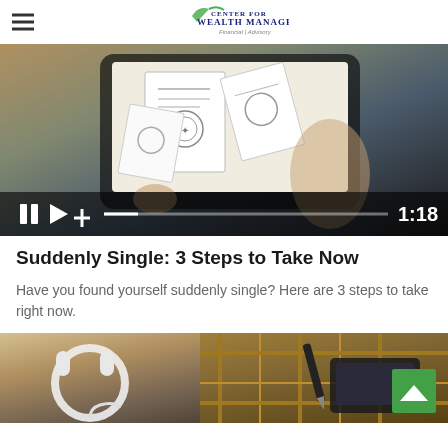Center for Wealth Management — Financial | Advisory
[Figure (screenshot): Video player showing a person holding a tablet with sketch-style documents/cards on screen. Video controls bar at bottom showing pause, play, plus icons, a progress bar, and timestamp 1:18]
Suddenly Single: 3 Steps to Take Now
Have you found yourself suddenly single? Here are 3 steps to take right now.
[Figure (photo): Photo showing white headphones, a pen, plaid fabric, and a tablet/device on a surface. A green back-to-top arrow button is visible in the bottom right corner.]